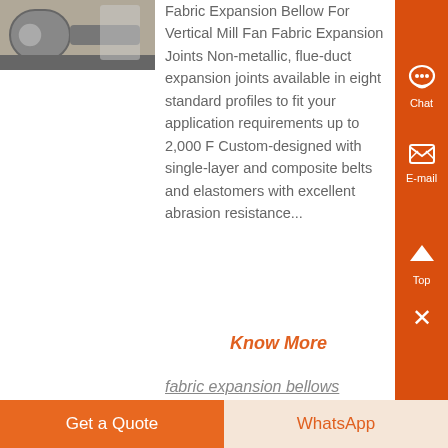[Figure (photo): Industrial equipment photo showing fabric expansion bellow for vertical mill fan, outdoor industrial setting with large cylindrical structures]
Fabric Expansion Bellow For Vertical Mill Fan Fabric Expansion Joints Non-metallic, flue-duct expansion joints available in eight standard profiles to fit your application requirements up to 2,000 F Custom-designed with single-layer and composite belts and elastomers with excellent abrasion resistance...
Know More
fabric expansion bellows
Chat
E-mail
Top
Get a Quote
WhatsApp